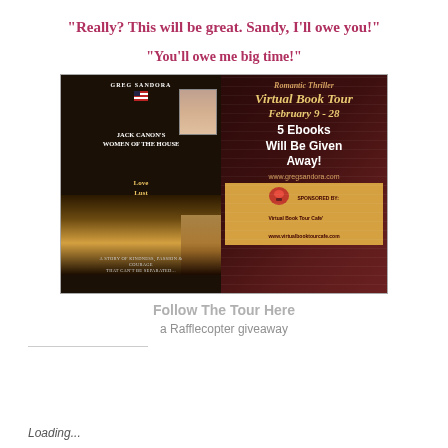“Really? This will be great. Sandy, I’ll owe you!”
“You’ll owe me big time!”
[Figure (illustration): Promotional banner for Romantic Thriller Virtual Book Tour February 9-28, featuring Jack Canon's Women of the House by Greg Sandora. Left side shows book cover with White House image, right side shows tour details including 5 Ebooks Will Be Given Away and website www.gregsandora.com. Sponsored by Virtual Book Tour Cafe.]
Follow The Tour Here
a Rafflecopter giveaway
Loading...